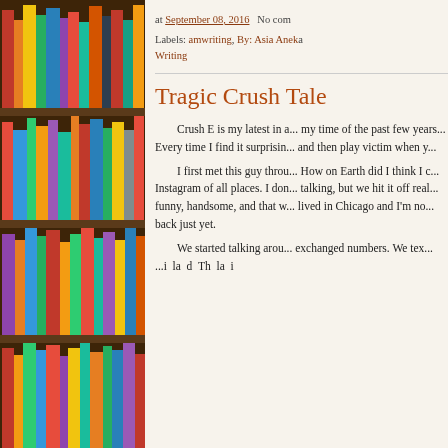[Figure (photo): Photograph of a wooden bookshelf filled with colorful books of various sizes, occupying the left portion of the page.]
at September 08, 2016    No com
Labels: amwriting, By: Asia Aneka... Writing
Tragic Crush Tale
Crush E is my latest in a... my time of the past few years... Every time I find it surprisin... and then play victim when y... I first met this guy throu... How on Earth did I think I c... Instagram of all places. I don... talking, but we hit it off real... funny, handsome, and that w... lived in Chicago and I'm no... back just yet. We started talking arou... exchanged numbers. We tex... ...i la d Th la i